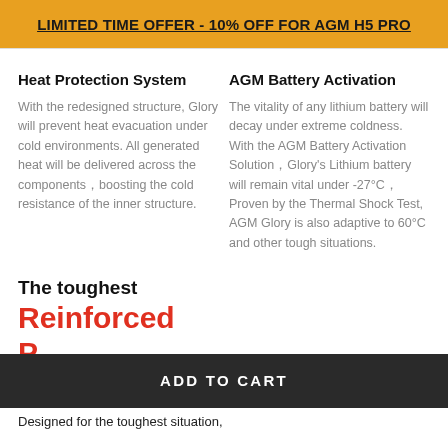LIMITED TIME OFFER - 10% OFF FOR AGM H5 PRO
Heat Protection System
With the redesigned structure, Glory will prevent heat evacuation under cold environments. All generated heat will be delivered across the components⁠boosting the cold resistance of the inner structure.
AGM Battery Activation
The vitality of any lithium battery will decay under extreme coldness. With the AGM Battery Activation Solution⁠Glory’s Lithium battery will remain vital under -27°C⁠ Proven by the Thermal Shock Test, AGM Glory is also adaptive to 60°C and other tough situations.
The toughest
Reinforced
ADD TO CART
Designed for the toughest situation,